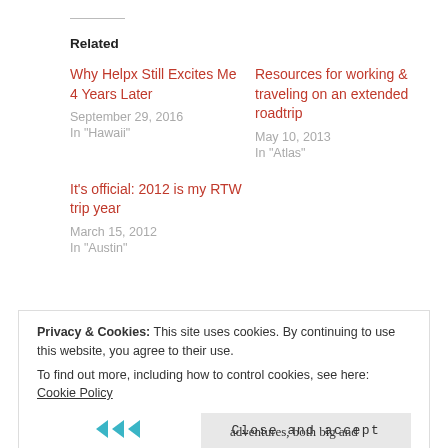Related
Why Helpx Still Excites Me 4 Years Later
September 29, 2016
In "Hawaii"
Resources for working & traveling on an extended roadtrip
May 10, 2013
In "Atlas"
It’s official: 2012 is my RTW trip year
March 15, 2012
In "Austin"
Privacy & Cookies: This site uses cookies. By continuing to use this website, you agree to their use.
To find out more, including how to control cookies, see here: Cookie Policy
Close and accept
adventures, both big and